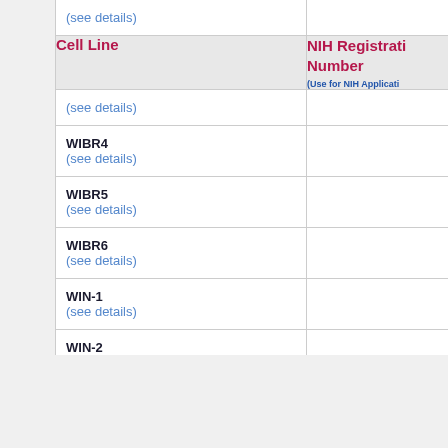| Cell Line | NIH Registration Number (Use for NIH Applications) |
| --- | --- |
| (see details) |  |
| WIBR4
(see details) |  |
| WIBR5
(see details) |  |
| WIBR6
(see details) |  |
| WIN-1
(see details) |  |
| WIN-2 |  |